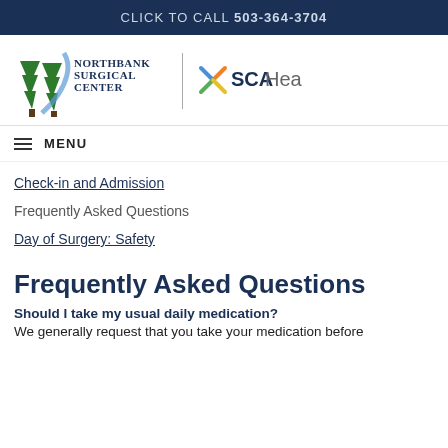CLICK TO CALL 503-364-3704
[Figure (logo): Northbank Surgical Center logo with trees and river graphic, paired with SCA Health logo]
≡ MENU
Check-in and Admission
Frequently Asked Questions
Day of Surgery: Safety
Frequently Asked Questions
Should I take my usual daily medication?
We generally request that you take your medication before